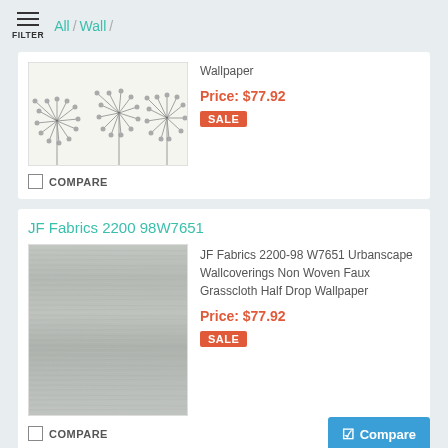FILTER  All / Wall /
[Figure (photo): Dandelion wallpaper pattern with line-art dandelion flowers on white background]
Wallpaper
Price: $77.92
SALE
☐ COMPARE
JF Fabrics 2200 98W7651
[Figure (photo): Grasscloth-style grey textured wallpaper sample]
JF Fabrics 2200-98 W7651 Urbanscape Wallcoverings Non Woven Faux Grasscloth Half Drop Wallpaper
Price: $77.92
SALE
☐ COMPARE
Compare
[Figure (photo): Blue and white leaf/tropical pattern wallpaper, partially visible at bottom]